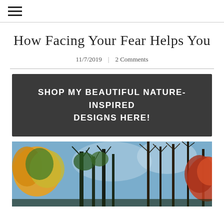≡
How Facing Your Fear Helps You
11/7/2019   2 Comments
[Figure (infographic): Dark grey banner with white bold uppercase text: SHOP MY BEAUTIFUL NATURE-INSPIRED DESIGNS HERE!]
[Figure (photo): Upward-looking view of autumn forest trees with colorful foliage — orange, yellow, green leaves and bare branches against a blue-grey sky]